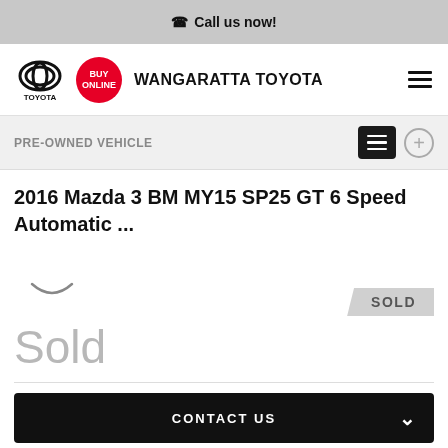Call us now!
[Figure (logo): Toyota logo and Wangaratta Toyota dealer name with Buy Online badge and hamburger menu]
PRE-OWNED VEHICLE
2016 Mazda 3 BM MY15 SP25 GT 6 Speed Automatic ...
SOLD
Sold
CONTACT US
FINANCE THIS VEHICLE